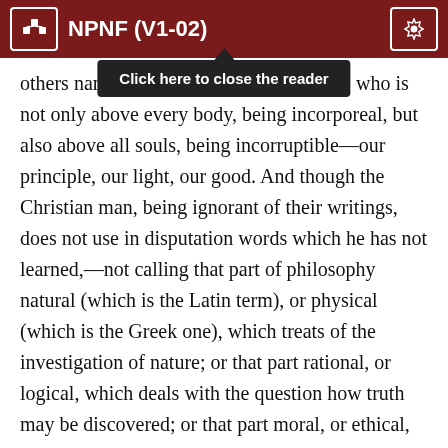NPNF (V1-02)
[Figure (screenshot): Tooltip overlay reading 'Click here to close the reader' with dark background and upward pointing arrow, appearing below the header bar]
others named, the author of this universe, who is not only above every body, being incorporeal, but also above all souls, being incorruptible—our principle, our light, our good. And though the Christian man, being ignorant of their writings, does not use in disputation words which he has not learned,—not calling that part of philosophy natural (which is the Latin term), or physical (which is the Greek one), which treats of the investigation of nature; or that part rational, or logical, which deals with the question how truth may be discovered; or that part moral, or ethical,